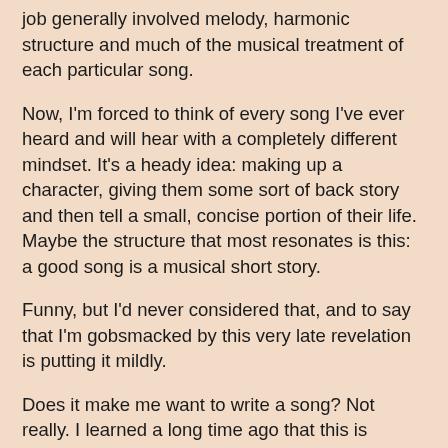job generally involved melody, harmonic structure and much of the musical treatment of each particular song.
Now, I'm forced to think of every song I've ever heard and will hear with a completely different mindset. It's a heady idea: making up a character, giving them some sort of back story and then tell a small, concise portion of their life. Maybe the structure that most resonates is this: a good song is a musical short story.
Funny, but I'd never considered that, and to say that I'm gobsmacked by this very late revelation is putting it mildly.
Does it make me want to write a song? Not really. I learned a long time ago that this is something that I don't do well innately, and since I have so many other things in my life that need my attention (see last week's post), it's best that I don't add any more to my to-do list.
But I know I'm going to be closely listening to the lyrical content of any song I run across from here on in – except for songs by the progressive rock band Yes whose lyrics make